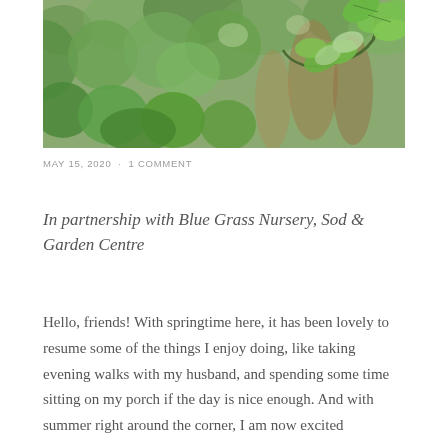[Figure (photo): Close-up photograph of green leaves and foliage with bokeh background showing brown tree trunks]
MAY 15, 2020  ·  1 COMMENT
In partnership with Blue Grass Nursery, Sod & Garden Centre
Hello, friends! With springtime here, it has been lovely to resume some of the things I enjoy doing, like taking evening walks with my husband, and spending some time sitting on my porch if the day is nice enough. And with summer right around the corner, I am now excited